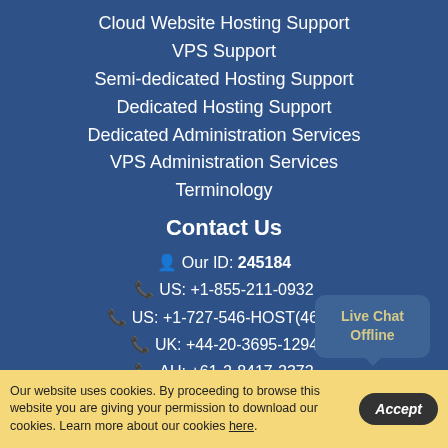Cloud Website Hosting Support
VPS Support
Semi-dedicated Hosting Support
Dedicated Hosting Support
Dedicated Administration Services
VPS Administration Services
Terminology
Contact Us
Our ID: 245184
US: +1-855-211-0932
US: +1-727-546-HOST(4678)
UK: +44-20-3695-1294
AU: +61-2-8417-2372
[Figure (other): Live Chat Offline bubble widget]
Our website uses cookies. By proceeding to browse this website you are giving your permission to download our cookies. Learn more about our cookies here.